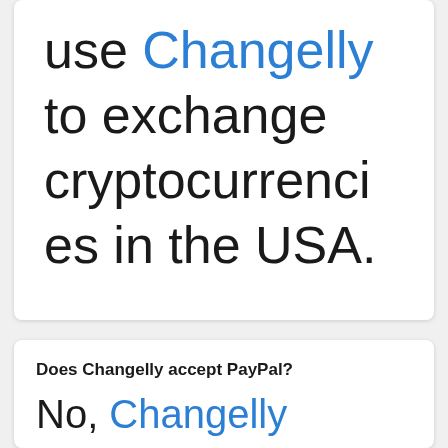use Changelly to exchange cryptocurrencies in the USA.
Does Changelly accept PayPal?
No, Changelly